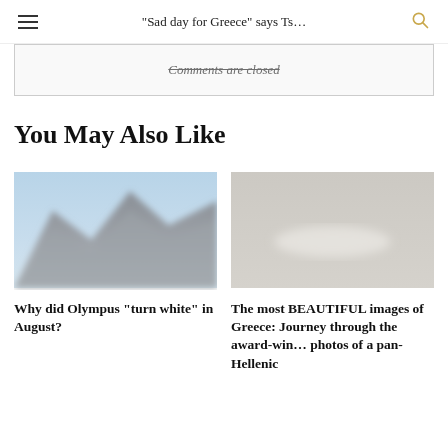“Sad day for Greece” says Ts…
Comments are closed
You May Also Like
[Figure (photo): Blurry photo of a mountain (Olympus) with blue sky and rocky terrain]
Why did Olympus “turn white” in August?
[Figure (photo): Blurry light grey/beige image, likely a scenic or aerial Greece landscape photo]
The most BEAUTIFUL images of Greece: Journey through the award-win… photos of a pan-Hellenic